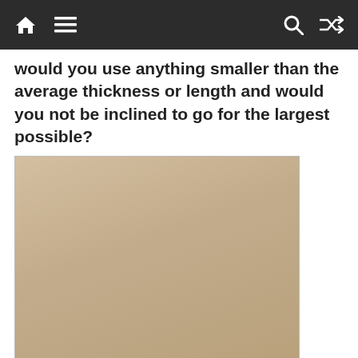Navigation bar with home, menu, search, and shuffle icons
would you use anything smaller than the average thickness or length and would you not be inclined to go for the largest possible?
[Figure (photo): A Stone Age axe consisting of a dark grey stone head bound to a pale carved bone or antler handle, photographed against a beige/skin-tone background.]
Stone Age Axe – far superior to Antler picks? – Antler Picks
This strange lack of evidence can also be seen in other monuments where even greater numbers of 'antler picks' would be required but have not